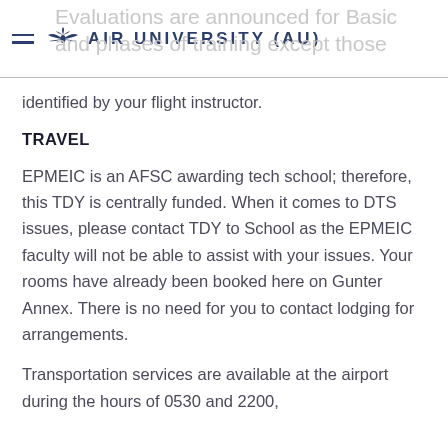AIR UNIVERSITY (AU)
identified by your flight instructor.
TRAVEL
EPMEIC is an AFSC awarding tech school; therefore, this TDY is centrally funded. When it comes to DTS issues, please contact TDY to School as the EPMEIC faculty will not be able to assist with your issues. Your rooms have already been booked here on Gunter Annex. There is no need for you to contact lodging for arrangements.
Transportation services are available at the airport during the hours of 0530 and 2200,